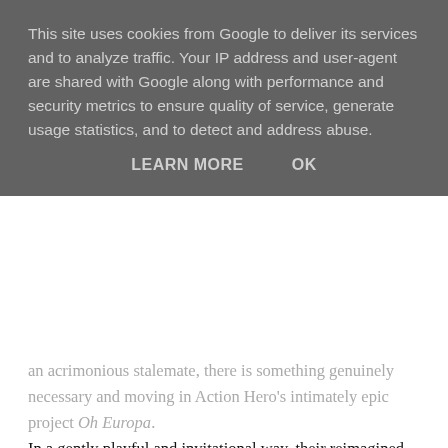This site uses cookies from Google to deliver its services and to analyze traffic. Your IP address and user-agent are shared with Google along with performance and security metrics to ensure quality of service, generate usage statistics, and to detect and address abuse.
LEARN MORE   OK
an acrimonious stalemate, there is something genuinely necessary and moving in Action Hero's intimately epic project Oh Europa. In a gently playful and invitational way, their reimagined mapping of Europe in a time of apparent unraveling seeks to affirm connections and exchanges between people, through an affective cartography of places, encounters and feelings given resonant body in hundreds of love songs. All of the materials in this multiform art work – the 6-month journey undertaken by Gemma and James in their motorhome last year, the songs they collected, their video 'postcards' along the way, the live performances after the journey's end, and this video installation with its 'atlas' detailing the location of the 41 beacons transmitting songs across